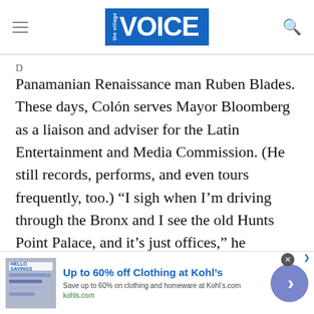the Village VOICE
Panamanian Renaissance man Ruben Blades. These days, Colón serves Mayor Bloomberg as a liaison and adviser for the Latin Entertainment and Media Commission. (He still records, performs, and even tours frequently, too.) “I sigh when I’m driving through the Bronx and I see the old Hunts Point Palace, and it’s just offices,” he continues. “It was another time—and, you know, we long for that.” True enough, but maybe we can change that, invoke the spirit, even if only for a few hours. Or maybe it’s
[Figure (screenshot): Advertisement banner: Up to 60% off Clothing at Kohl's. Save up to 60% on clothing and homeware at Kohls.com. kohls.com]